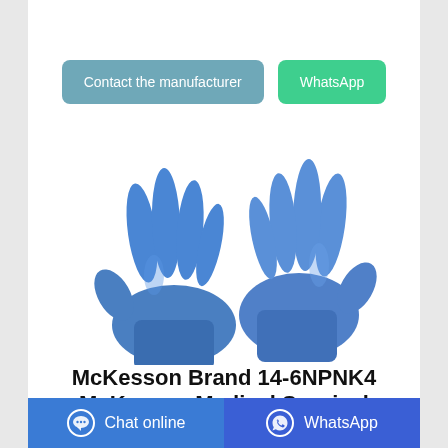[Figure (other): Two blue nitrile medical/surgical examination gloves displayed on a white background]
McKesson Brand 14-6NPNK4 McKesson Medical Surgical
Contact the manufacturer
WhatsApp
Chat online   WhatsApp